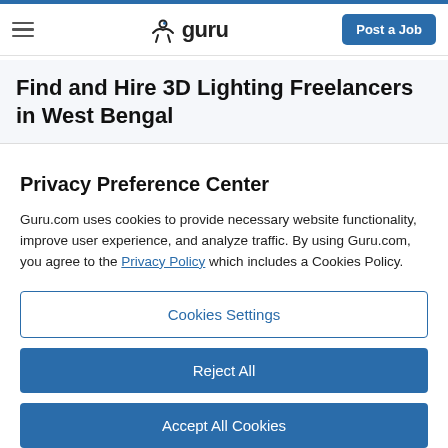guru — Post a Job
Find and Hire 3D Lighting Freelancers in West Bengal
Privacy Preference Center
Guru.com uses cookies to provide necessary website functionality, improve user experience, and analyze traffic. By using Guru.com, you agree to the Privacy Policy which includes a Cookies Policy.
Cookies Settings
Reject All
Accept All Cookies